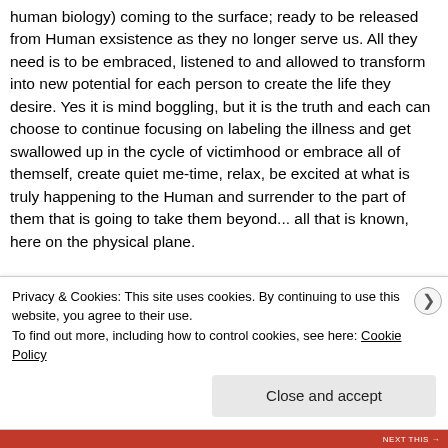human biology) coming to the surface; ready to be released from Human exsistence as they no longer serve us. All they need is to be embraced, listened to and allowed to transform into new potential for each person to create the life they desire. Yes it is mind boggling, but it is the truth and each can choose to continue focusing on labeling the illness and get swallowed up in the cycle of victimhood or embrace all of themself, create quiet me-time, relax, be excited at what is truly happening to the Human and surrender to the part of them that is going to take them beyond... all that is known, here on the physical plane.
Privacy & Cookies: This site uses cookies. By continuing to use this website, you agree to their use.
To find out more, including how to control cookies, see here: Cookie Policy
Close and accept